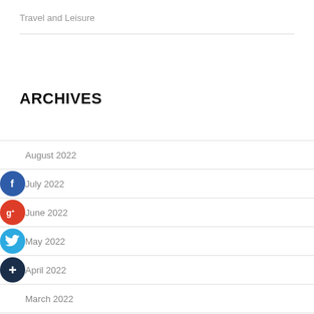Travel and Leisure
ARCHIVES
August 2022
July 2022
June 2022
May 2022
April 2022
March 2022